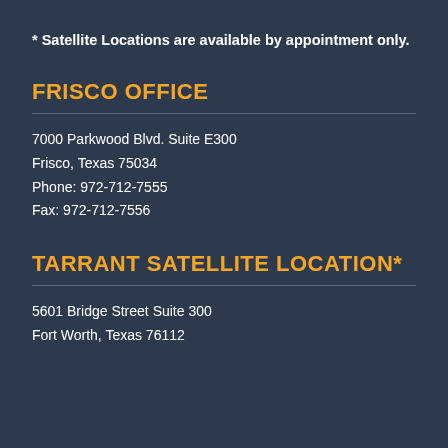* Satellite Locations are available by appointment only.
FRISCO OFFICE
7000 Parkwood Blvd. Suite E300
Frisco, Texas 75034
Phone: 972-712-7555
Fax: 972-712-7556
TARRANT SATELLITE LOCATION*
5601 Bridge Street Suite 300
Fort Worth, Texas 76112